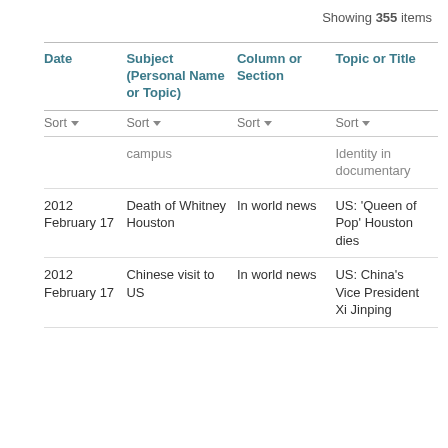Showing 355 items
| Date | Subject (Personal Name or Topic) | Column or Section | Topic or Title |
| --- | --- | --- | --- |
|  | campus |  | Identity in documentary |
| 2012 February 17 | Death of Whitney Houston | In world news | US: 'Queen of Pop' Houston dies |
| 2012 February 17 | Chinese visit to US | In world news | US: China's Vice President Xi Jinping |